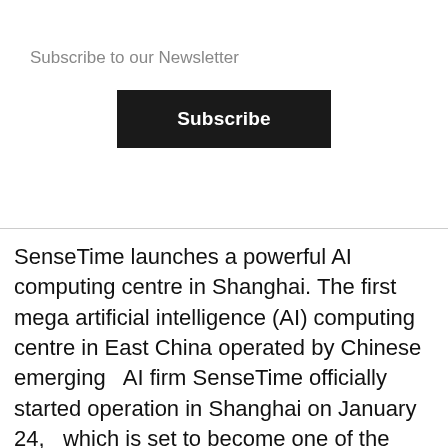Subscribe to our Newsletter
Subscribe
SenseTime launches a powerful AI computing centre in Shanghai. The first mega artificial intelligence (AI) computing centre in East China operated by Chinese emerging   AI firm SenseTime officially started operation in Shanghai on January 24,   which is set to become one of the largest AI computing centres in Asia. The   AI computing centre located in Lingang New Area in Shanghai is designed to have a peak computing power of up to 3,740 petaflops, with a petaflop being a   quadrillion floating-point